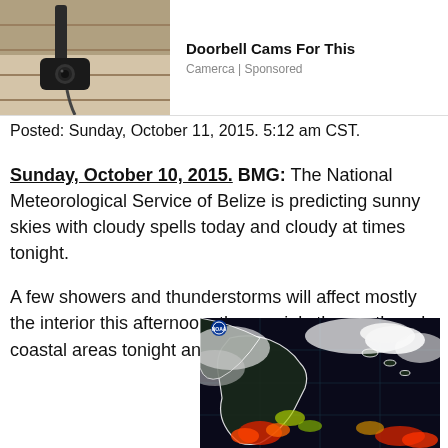[Figure (photo): Advertisement banner showing a doorbell camera on a building exterior]
Doorbell Cams For This
Camerca | Sponsored
Posted: Sunday, October 11, 2015. 5:12 am CST.
Sunday, October 10, 2015. BMG: The National Meteorological Service of Belize is predicting sunny skies with cloudy spells today and cloudy at times tonight.
A few showers and thunderstorms will affect mostly the interior this afternoon, then mainly the south and coastal areas tonight and tomorrow morning.
[Figure (photo): NOAA satellite image showing cloud cover over Central America and the Caribbean, with color-coded precipitation (red/orange indicating heavy rain in south)]